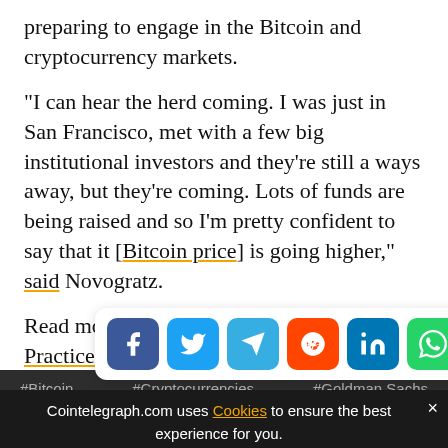preparing to engage in the Bitcoin and cryptocurrency markets.
“I can hear the herd coming. I was just in San Francisco, met with a few big institutional investors and they’re still a ways away, but they’re coming. Lots of funds are being raised and so I’m pretty confident to say that it [Bitcoin price] is going higher,” said Novogratz.
Read more: How to Buy Bitcoin: Best Practices, Where to Buy
[Figure (other): Social share buttons: Facebook, Twitter, Telegram, Reddit, LinkedIn, WhatsApp, Copy, Scroll-to-top]
#Bitcoin   #Cryptocurrencies   #Goldman Sachs
Cointelegraph.com uses Cookies to ensure the best experience for you.
#Bitcoin Price   #Investments   #CNBC
ACCEPT
#Trading